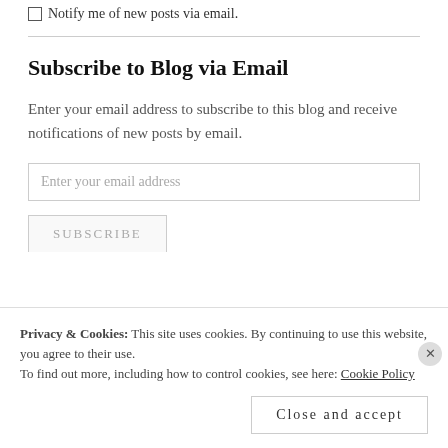Notify me of new posts via email.
Subscribe to Blog via Email
Enter your email address to subscribe to this blog and receive notifications of new posts by email.
Enter your email address
SUBSCRIBE
Privacy & Cookies: This site uses cookies. By continuing to use this website, you agree to their use.
To find out more, including how to control cookies, see here: Cookie Policy
Close and accept